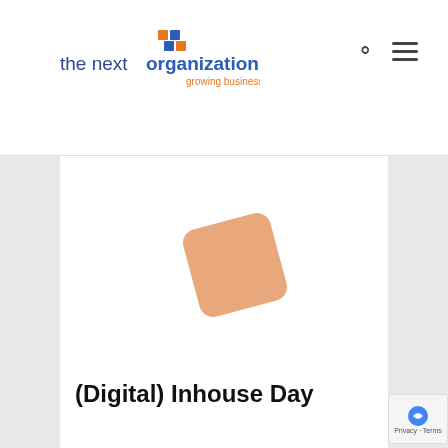the next organization growing business
[Figure (illustration): Orange/salmon colored rotated square diamond shape on white background]
(Digital) Inhouse Day
If you would like to experience what it is like to work as a strategic consultant at a TO for...
[Figure (screenshot): Dark popup overlay with 'How can we help you?' text and green Reply button]